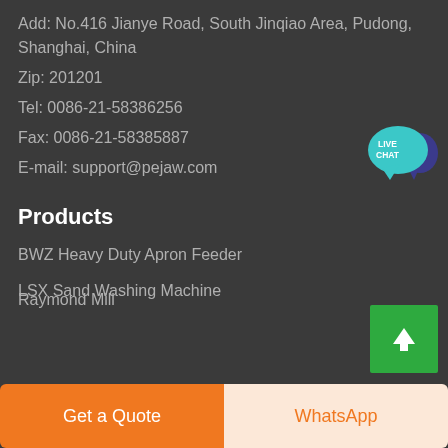Add: No.416 Jianye Road, South Jinqiao Area, Pudong, Shanghai, China
Zip: 201201
Tel: 0086-21-58386256
Fax: 0086-21-58385887
E-mail: support@pejaw.com
[Figure (illustration): Live Chat speech bubble icon in teal/blue colors with text LIVE CHAT]
Products
BWZ Heavy Duty Apron Feeder
LSX Sand Washing Machine
Raymond Mill
[Figure (illustration): Green square button with white upward arrow for scroll to top]
Get a Quote
WhatsApp